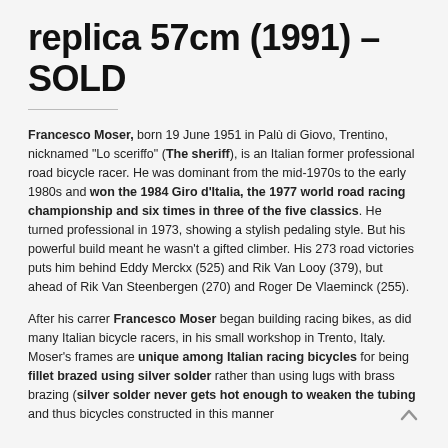replica 57cm (1991) – SOLD
Francesco Moser, born 19 June 1951 in Palù di Giovo, Trentino, nicknamed "Lo sceriffo" (The sheriff), is an Italian former professional road bicycle racer. He was dominant from the mid-1970s to the early 1980s and won the 1984 Giro d'Italia, the 1977 world road racing championship and six times in three of the five classics. He turned professional in 1973, showing a stylish pedaling style. But his powerful build meant he wasn't a gifted climber. His 273 road victories puts him behind Eddy Merckx (525) and Rik Van Looy (379), but ahead of Rik Van Steenbergen (270) and Roger De Vlaeminck (255).
After his carrer Francesco Moser began building racing bikes, as did many Italian bicycle racers, in his small workshop in Trento, Italy. Moser's frames are unique among Italian racing bicycles for being fillet brazed using silver solder rather than using lugs with brass brazing (silver solder never gets hot enough to weaken the tubing and thus bicycles constructed in this manner